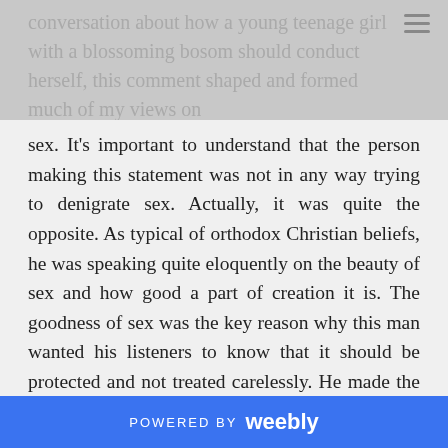conversation about how a young teenage girl with a blossoming bosom should conduct herself, this comment shaped and formed much of my views on
sex. It's important to understand that the person making this statement was not in any way trying to denigrate sex. Actually, it was quite the opposite. As typical of orthodox Christian beliefs, he was speaking quite eloquently on the beauty of sex and how good a part of creation it is. The goodness of sex was the key reason why this man wanted his listeners to know that it should be protected and not treated carelessly. He made the above comment upon noticing the discomfort his female audience displayed, proceeding to explain that while women may not see certain issues concerning sex as a big deal, all men did.
The tenor of this conversation is very familiar to most women my age who grew up in conservative Christian homes. We were with the idea that all men are
POWERED BY weebly